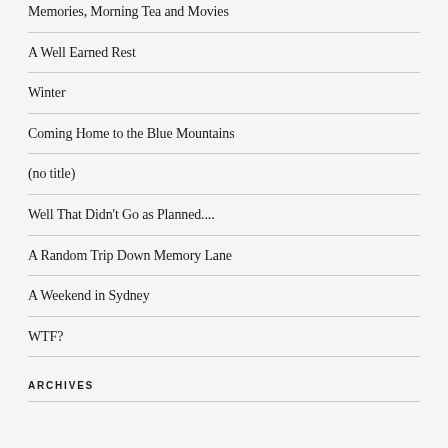Memories, Morning Tea and Movies
A Well Earned Rest
Winter
Coming Home to the Blue Mountains
(no title)
Well That Didn't Go as Planned....
A Random Trip Down Memory Lane
A Weekend in Sydney
WTF?
ARCHIVES